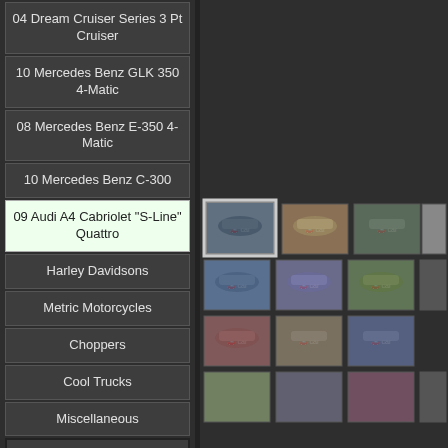04 Dream Cruiser Series 3 Pt Cruiser
10 Mercedes Benz GLK 350 4-Matic
08 Mercedes Benz E-350 4-Matic
10 Mercedes Benz C-300
09 Audi A4 Cabriolet "S-Line" Quattro
Harley Davidsons
Metric Motorcycles
Choppers
Cool Trucks
Miscellaneous
CONSIGN
SOLD RIDES
USED PARTS (New!)
[Figure (screenshot): Grid of car thumbnail images showing various Audi A4 Cabriolet vehicles from different angles, with first image selected/highlighted]